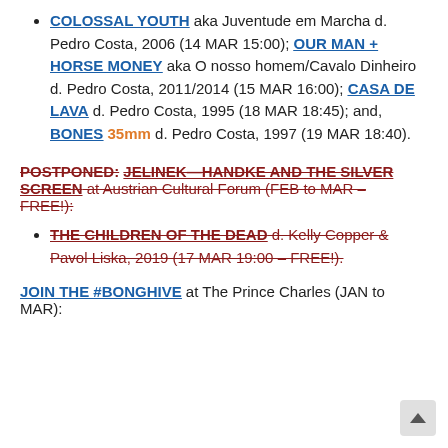COLOSSAL YOUTH aka Juventude em Marcha d. Pedro Costa, 2006 (14 MAR 15:00); OUR MAN + HORSE MONEY aka O nosso homem/Cavalo Dinheiro d. Pedro Costa, 2011/2014 (15 MAR 16:00); CASA DE LAVA d. Pedro Costa, 1995 (18 MAR 18:45); and, BONES 35mm d. Pedro Costa, 1997 (19 MAR 18:40).
POSTPONED: JELINEK—HANDKE AND THE SILVER SCREEN at Austrian Cultural Forum (FEB to MAR – FREE!):
THE CHILDREN OF THE DEAD d. Kelly Copper & Pavol Liska, 2019 (17 MAR 19:00 – FREE!).
JOIN THE #BONGHIVE at The Prince Charles (JAN to MAR):